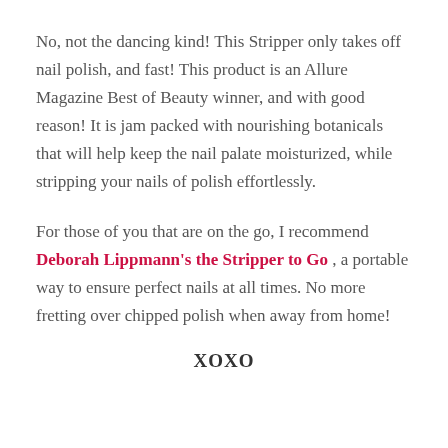No, not the dancing kind! This Stripper only takes off nail polish, and fast! This product is an Allure Magazine Best of Beauty winner, and with good reason! It is jam packed with nourishing botanicals that will help keep the nail palate moisturized, while stripping your nails of polish effortlessly.
For those of you that are on the go, I recommend Deborah Lippmann's the Stripper to Go , a portable way to ensure perfect nails at all times. No more fretting over chipped polish when away from home!
XOXO